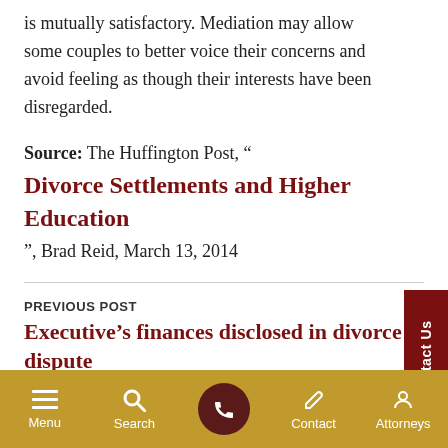is mutually satisfactory. Mediation may allow some couples to better voice their concerns and avoid feeling as though their interests have been disregarded.
Source: The Huffington Post, “
Divorce Settlements and Higher Education
”, Brad Reid, March 13, 2014
PREVIOUS POST
Executive’s finances disclosed in divorce dispute
NEXT POST
Assets difficult to value make divorce
Menu  Search  Contact  Attorneys